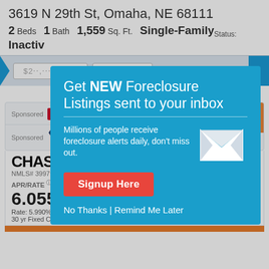3619 N 29th St, Omaha, NE 68111
2 Beds  1 Bath  1,559 Sq. Ft.  Single-Family  Status: Inactive
[Figure (screenshot): UI strip with price input fields and blue button]
Add More Details ▼
Sponsored - Veterans United - $0 Down VA Loan for Veterans - Find out how much you qualify for. Home Loans
Sponsored - PenFed Credit Union - Get [link] - Competitive rates. Upfront pricing.
CHASE - NMLS# 399798 · Sta...
APR/RATE
6.055%
Rate: 5.990%
30 yr Fixed Conforming
Fees: $1,395
Points: 0.00
[Figure (infographic): Modal popup: Get NEW Foreclosure Listings sent to your inbox. Millions of people receive foreclosure alerts daily, don't miss out. Signup Here button. No Thanks | Remind Me Later.]